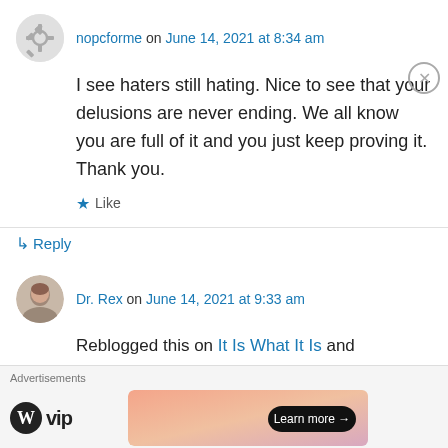nopcforme on June 14, 2021 at 8:34 am
I see haters still hating. Nice to see that your delusions are never ending. We all know you are full of it and you just keep proving it. Thank you.
Like
Reply
Dr. Rex on June 14, 2021 at 9:33 am
Reblogged this on It Is What It Is and commented:
IT'S ALWAYS PROJECTION!! … "Remember
Advertisements
[Figure (logo): WordPress VIP logo with W icon and Learn more button on gradient banner]